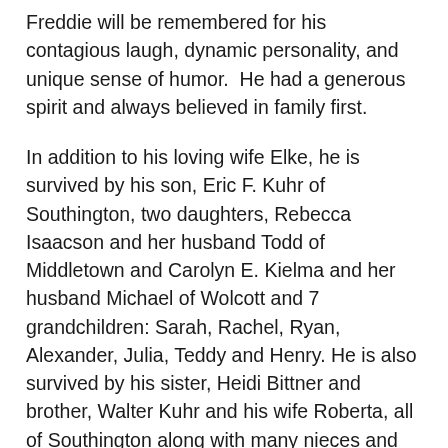Freddie will be remembered for his contagious laugh, dynamic personality, and unique sense of humor.  He had a generous spirit and always believed in family first.
In addition to his loving wife Elke, he is survived by his son, Eric F. Kuhr of Southington, two daughters, Rebecca Isaacson and her husband Todd of Middletown and Carolyn E. Kielma and her husband Michael of Wolcott and 7 grandchildren: Sarah, Rachel, Ryan, Alexander, Julia, Teddy and Henry. He is also survived by his sister, Heidi Bittner and brother, Walter Kuhr and his wife Roberta, all of Southington along with many nieces and nephews.  He was predeceased by his sister Loretta Miron and